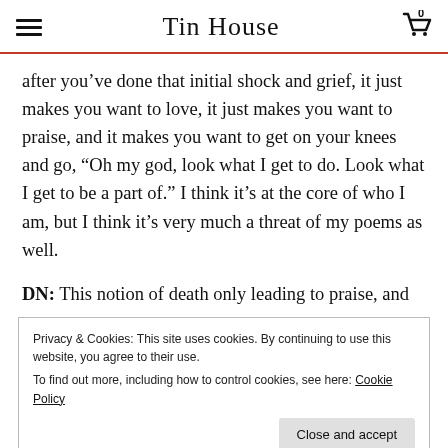Tin House
after you’ve done that initial shock and grief, it just makes you want to love, it just makes you want to praise, and it makes you want to get on your knees and go, “Oh my god, look what I get to do. Look what I get to be a part of.” I think it’s at the core of who I am, but I think it’s very much a threat of my poems as well.
DN: This notion of death only leading to praise, and
Privacy & Cookies: This site uses cookies. By continuing to use this website, you agree to their use.
To find out more, including how to control cookies, see here: Cookie Policy
Close and accept